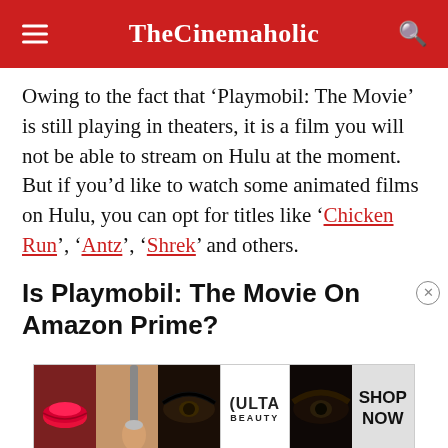TheCinemaholic
Owing to the fact that ‘Playmobil: The Movie’ is still playing in theaters, it is a film you will not be able to stream on Hulu at the moment. But if you’d like to watch some animated films on Hulu, you can opt for titles like ‘Chicken Run’, ‘Antz’, ‘Shrek’ and others.
Is Playmobil: The Movie On Amazon Prime?
[Figure (other): ULTA beauty advertisement banner with makeup imagery and SHOP NOW call-to-action]